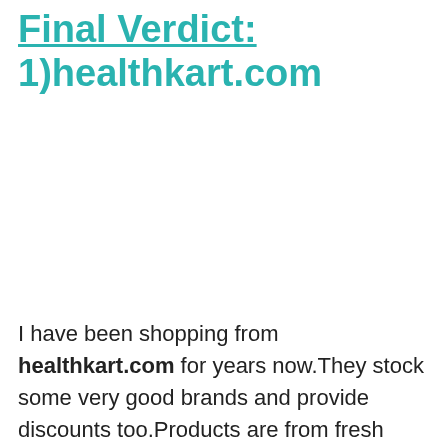Final Verdict:
1)healthkart.com
I have been shopping from healthkart.com for years now.They stock some very good brands and provide discounts too.Products are from fresh stock and delivered in good condition. White carton box with white plastic sheet wrapping is their signature packaging. Products are dispatched within 24-48 hours.